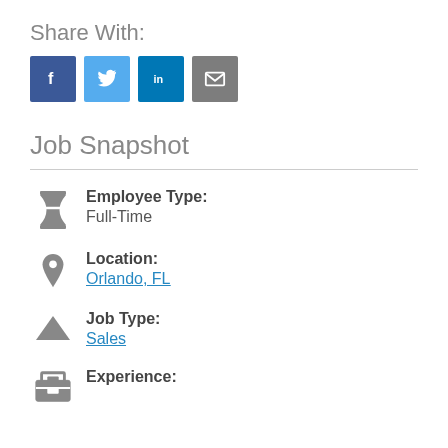Share With:
[Figure (infographic): Four social share buttons: Facebook (blue), Twitter (light blue), LinkedIn (dark blue), Email (grey)]
Job Snapshot
Employee Type: Full-Time
Location: Orlando, FL
Job Type: Sales
Experience: